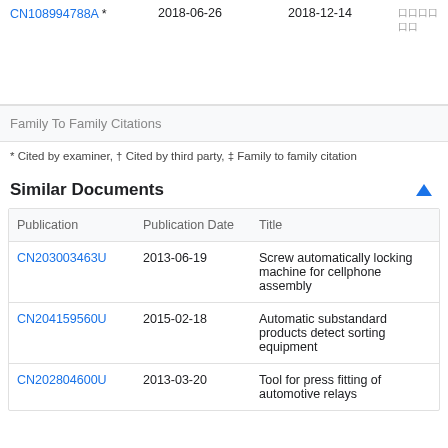| Publication | Publication Date |  |  |
| --- | --- | --- | --- |
| CN108994788A * | 2018-06-26 | 2018-12-14 | 口口口口口口 |
Family To Family Citations
* Cited by examiner, † Cited by third party, ‡ Family to family citation
Similar Documents
| Publication | Publication Date | Title |
| --- | --- | --- |
| CN203003463U | 2013-06-19 | Screw automatically locking machine for cellphone assembly |
| CN204159560U | 2015-02-18 | Automatic substandard products detect sorting equipment |
| CN202804600U | 2013-03-20 | Tool for press fitting of automotive relays |